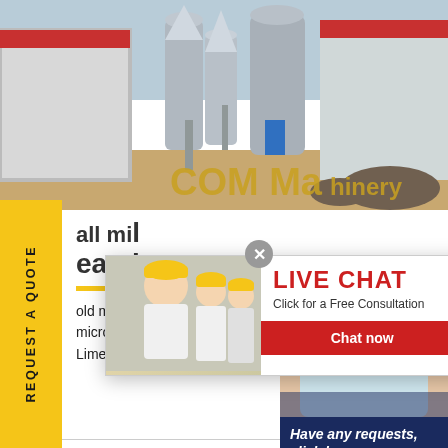[Figure (photo): Industrial factory/plant with silos and machinery equipment, outdoor view]
all milleamkr
old mining equipment manufacture ng
micron fine calcite with ball mill ma
Limestone Malaysia Wholesale,
[Figure (screenshot): Live chat popup widget with workers in yellow hard hats. Shows LIVE CHAT heading, 'Click for a Free Consultation' subtext, 'Chat now' (red button) and 'Chat later' (dark button)]
[Figure (photo): Customer service representative with headset smiling, shown in dark blue widget panel with 'Have any requests, click here.' text and orange Quotation button]
REQUEST A QUOTE